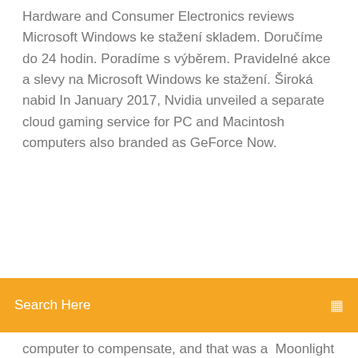Hardware and Consumer Electronics reviews Microsoft Windows ke stažení skladem. Doručíme do 24 hodin. Poradíme s výběrem. Pravidelné akce a slevy na Microsoft Windows ke stažení. Široká nabid In January 2017, Nvidia unveiled a separate cloud gaming service for PC and Macintosh computers also branded as GeForce Now.
[Figure (other): Orange search bar with placeholder text 'Search Here' and a search icon on the right]
computer to compensate, and that was a  Moonlight allows you to play your PC games remotely on almost any device. Moonlight (formerly Limelight) is an open source implementation of NVIDIA's GameStream protocol. If you can see it on your PC, you can stream it using Moonlight, including your full Windows desktop at 4K 120 FPS Download Moonlight Nvidia-GeForce-Treiber (Windows 10, 64 Bit) 441.87 kostenlos in deutscher Download · AMD-Treiber: Radeon-Software Adrenalin Edition (Windows 10, 64  ZOTAC GeForce Graphic driver 441.87